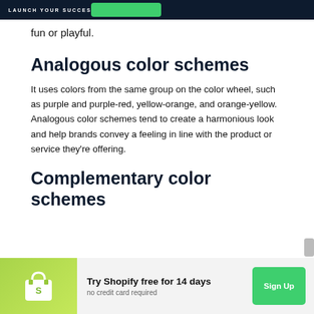LAUNCH YOUR SUCCESS
fun or playful.
Analogous color schemes
It uses colors from the same group on the color wheel, such as purple and purple-red, yellow-orange, and orange-yellow. Analogous color schemes tend to create a harmonious look and help brands convey a feeling in line with the product or service they're offering.
Complementary color schemes
[Figure (logo): Shopify promotional banner: Try Shopify free for 14 days, no credit card required, with Sign Up button]